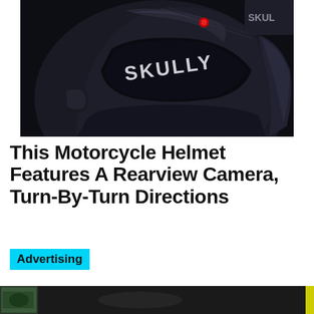[Figure (photo): Close-up photo of a dark/black SKULLY motorcycle helmet with 'SKULLY' text visible on the side, showing a sleek futuristic design with glossy and matte black surfaces.]
This Motorcycle Helmet Features A Rearview Camera, Turn-By-Turn Directions
Advertising
[Figure (photo): Bottom strip showing a partial thumbnail image of another motorcycle helmet or related product with a yellow accent bar on the right.]